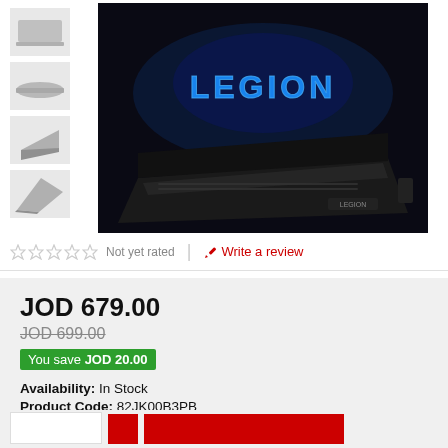[Figure (photo): Lenovo Legion gaming laptop product page with thumbnail images on left and main product image showing black laptop with LEGION logo glowing in blue]
Not yet rated
Write a review
JOD 679.00
JOD 699.00
You save JOD 20.00
Availability:  In Stock
Product Code:  82JK00B3PB
Brand:  Lenovo